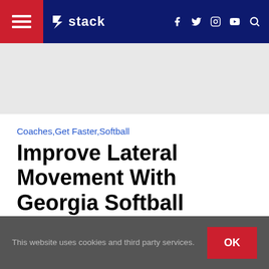stack — navigation bar with hamburger menu, logo, social icons (f, twitter, instagram, youtube), search
[Figure (other): Gray advertisement/banner placeholder area]
Coaches, Get Faster, Softball
Improve Lateral Movement With Georgia Softball
By STACK   Published On: 2009-03-01
[Figure (other): Black video or image media area]
This website uses cookies and third party services.